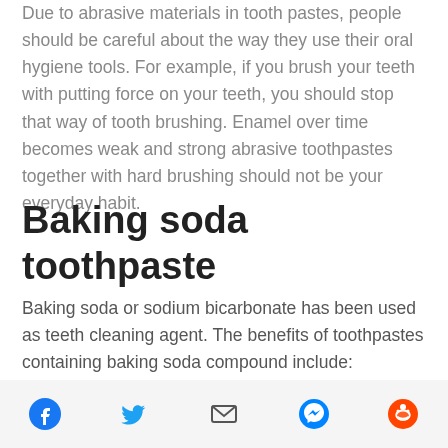Due to abrasive materials in tooth pastes, people should be careful about the way they use their oral hygiene tools. For example, if you brush your teeth with putting force on your teeth, you should stop that way of tooth brushing. Enamel over time becomes weak and strong abrasive toothpastes together with hard brushing should not be your everyday habit.
Baking soda toothpaste
Baking soda or sodium bicarbonate has been used as teeth cleaning agent. The benefits of toothpastes containing baking soda compound include:
Social share icons: Facebook, Twitter, Email, Messenger, Reddit